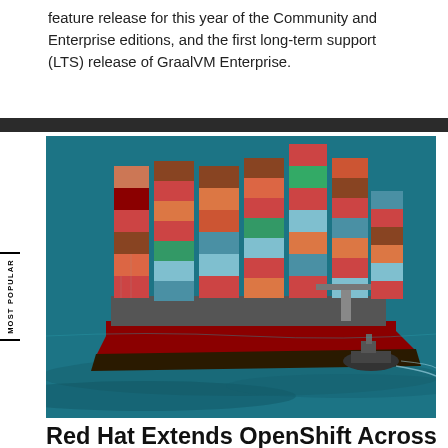feature release for this year of the Community and Enterprise editions, and the first long-term support (LTS) release of GraalVM Enterprise.
[Figure (photo): Aerial view of a large container ship loaded with colorful shipping containers on dark blue ocean water, with a smaller tugboat visible alongside.]
Red Hat Extends OpenShift Across Archs, Apps, and